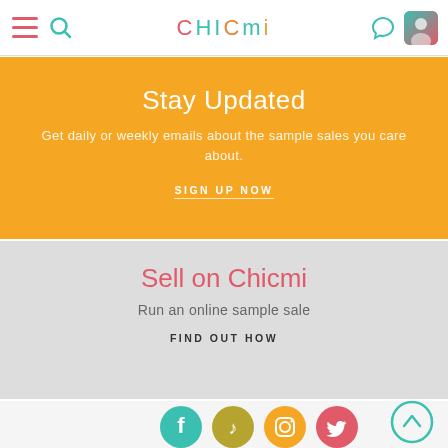CHICMI navigation bar with hamburger menu, search, logo, chat and profile icons
Stay Updated
Get daily or weekly emails about the sample sales you care about.
SIGN UP NOW
Sell on Chicmi
Run an online sample sale
FIND OUT HOW
[Figure (logo): Social media icons: Facebook, TikTok, Instagram, Twitter]
[Figure (illustration): Scroll to top chevron button]